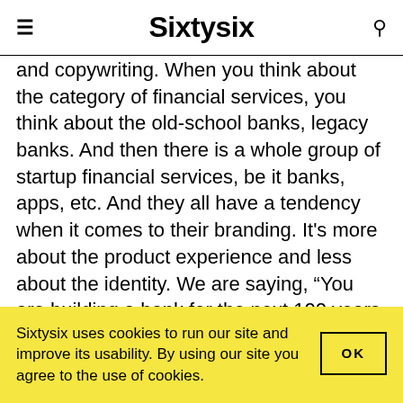Sixtysix
and copywriting. When you think about the category of financial services, you think about the old-school banks, legacy banks. And then there is a whole group of startup financial services, be it banks, apps, etc. And they all have a tendency when it comes to their branding. It’s more about the product experience and less about the identity. We are saying, “You are building a bank for the next 100 years, so we need to transcend both categories.” Our client is collaborative and open-minded and curious
Sixtysix uses cookies to run our site and improve its usability. By using our site you agree to the use of cookies.